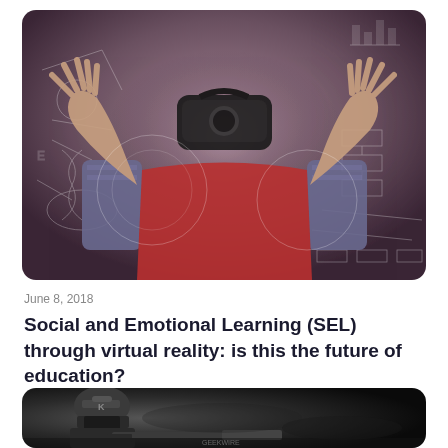[Figure (photo): Child wearing a VR headset with hands raised, surrounded by digital chalk-style diagrams and charts on a dark background]
June 8, 2018
Social and Emotional Learning (SEL) through virtual reality: is this the future of education?
[Figure (photo): Black and white image of a soldier in tactical gear with helmet and rifle]